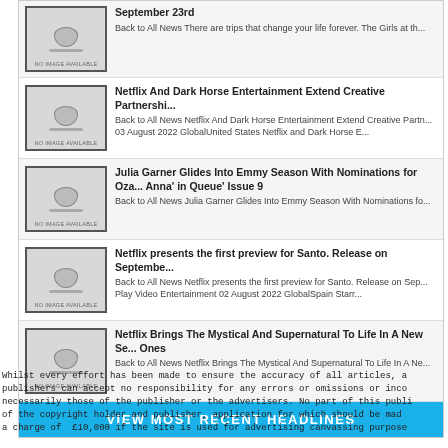September 23rd — Back to All News There are trips that change your life forever. The Girls at th...
Netflix And Dark Horse Entertainment Extend Creative Partnership — Back to All News Netflix And Dark Horse Entertainment Extend Creative Partn... 03 August 2022 GlobalUnited States Netflix and Dark Horse E...
Julia Garner Glides Into Emmy Season With Nominations for Oza... Anna' in Queue' Issue 9 — Back to All News Julia Garner Glides Into Emmy Season With Nominations fo...
Netflix presents the first preview for Santo. Release on Septembe... — Back to All News Netflix presents the first preview for Santo. Release on Sep... Play Video Entertainment 02 August 2022 GlobalSpain Starr...
Netflix Brings The Mystical And Supernatural To Life In A New Se... Ones — Back to All News Netflix Brings The Mystical And Supernatural To Life In A Ne...
VIEW MOST RECENT HEADLINES
Whilst every effort has been made to ensure the accuracy of all articles, a publishers can accept no responsibility for any errors or omissions or inco necessarily those of the publisher or the advertisers. No part of this publi of the copyright holder and publisher, application for which should be mad a charge of £10,000 if the site is used for advertising canvassing purpose